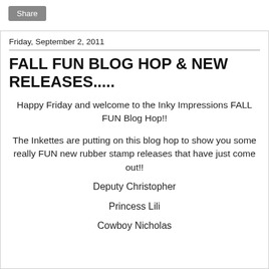Share
Friday, September 2, 2011
FALL FUN BLOG HOP & NEW RELEASES.....
Happy Friday and welcome to the Inky Impressions FALL FUN Blog Hop!!
The Inkettes are putting on this blog hop to show you some really FUN new rubber stamp releases that have just come out!!
Deputy Christopher
Princess Lili
Cowboy Nicholas